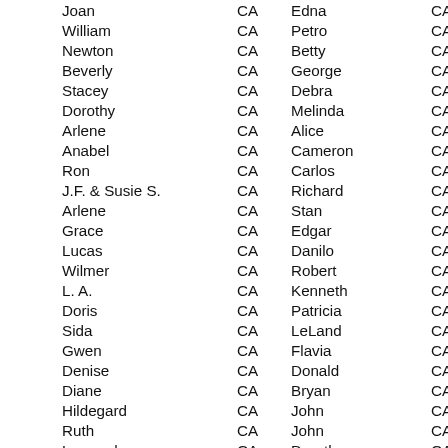| Name | State | Name | State |
| --- | --- | --- | --- |
| Joan | CA | Edna | CA |
| William | CA | Petro | CA |
| Newton | CA | Betty | CA |
| Beverly | CA | George | CA |
| Stacey | CA | Debra | CA |
| Dorothy | CA | Melinda | CA |
| Arlene | CA | Alice | CA |
| Anabel | CA | Cameron | CA |
| Ron | CA | Carlos | CA |
| J.F. & Susie S. | CA | Richard | CA |
| Arlene | CA | Stan | CA |
| Grace | CA | Edgar | CA |
| Lucas | CA | Danilo | CA |
| Wilmer | CA | Robert | CA |
| L. A. | CA | Kenneth | CA |
| Doris | CA | Patricia | CA |
| Sida | CA | LeLand | CA |
| Gwen | CA | Flavia | CA |
| Denise | CA | Donald | CA |
| Diane | CA | Bryan | CA |
| Hildegard | CA | John | CA |
| Ruth | CA | John | CA |
| Leonard | CA | Dorothy | CA |
| Leslie | CA | …rice | CA |